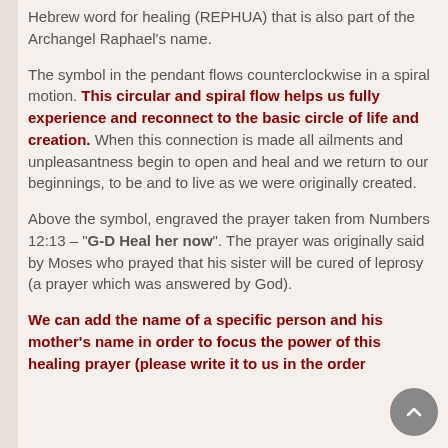Hebrew word for healing (REPHUA) that is also part of the Archangel Raphael's name.
The symbol in the pendant flows counterclockwise in a spiral motion. This circular and spiral flow helps us fully experience and reconnect to the basic circle of life and creation. When this connection is made all ailments and unpleasantness begin to open and heal and we return to our beginnings, to be and to live as we were originally created.
Above the symbol, engraved the prayer taken from Numbers 12:13 – "G-D Heal her now". The prayer was originally said by Moses who prayed that his sister will be cured of leprosy (a prayer which was answered by God).
We can add the name of a specific person and his mother's name in order to focus the power of this healing prayer (please write it to us in the order